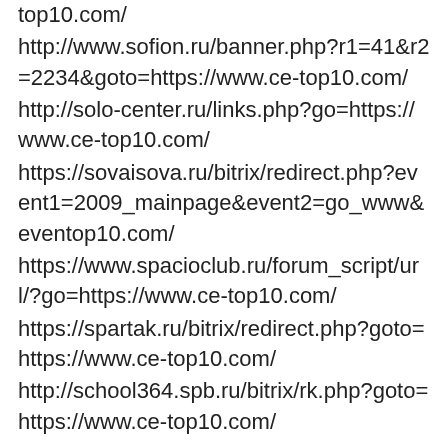top10.com/
http://www.sofion.ru/banner.php?r1=41&r2=2234&goto=https://www.ce-top10.com/
http://solo-center.ru/links.php?go=https://www.ce-top10.com/
https://sovaisova.ru/bitrix/redirect.php?event1=2009_mainpage&event2=go_www&event3=top10.com/
https://www.spacioclub.ru/forum_script/url/?go=https://www.ce-top10.com/
https://spartak.ru/bitrix/redirect.php?goto=https://www.ce-top10.com/
http://school364.spb.ru/bitrix/rk.php?goto=https://www.ce-top10.com/